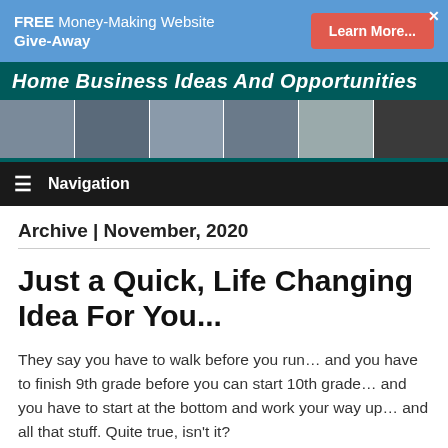[Figure (infographic): Blue ad banner with text 'FREE Money-Making Website Give-Away' and a red 'Learn More...' button, with an X close button]
[Figure (infographic): Website header banner reading 'Home Business Ideas and Opportunities' in white italic bold text on dark teal background, with a strip of lifestyle photos below]
Navigation
Archive | November, 2020
Just a Quick, Life Changing Idea For You...
They say you have to walk before you run… and you have to finish 9th grade before you can start 10th grade… and you have to start at the bottom and work your way up… and all that stuff. Quite true, isn't it?